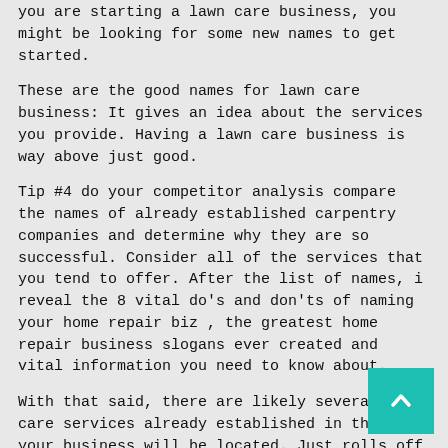you are starting a lawn care business, you might be looking for some new names to get started.
These are the good names for lawn care business: It gives an idea about the services you provide. Having a lawn care business is way above just good.
Tip #4 do your competitor analysis compare the names of already established carpentry companies and determine why they are so successful. Consider all of the services that you tend to offer. After the list of names, i reveal the 8 vital do's and don'ts of naming your home repair biz , the greatest home repair business slogans ever created and vital information you need to know about.
With that said, there are likely several lawn care services already established in the area your business will be located. Just rolls off the tongue and makes the nature of the business instantly recognizable. You may have pursued yours.
Four steps to naming your property maintenance business. Check out these 435 unique naming ideas to grow 🙂 your